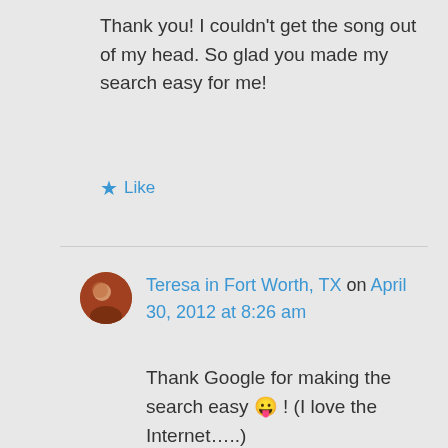Thank you! I couldn't get the song out of my head. So glad you made my search easy for me!
★ Like
Teresa in Fort Worth, TX on April 30, 2012 at 8:26 am
Thank Google for making the search easy 😛 ! (I love the Internet…..)
I've been surprised at how many people have visited here – I guess